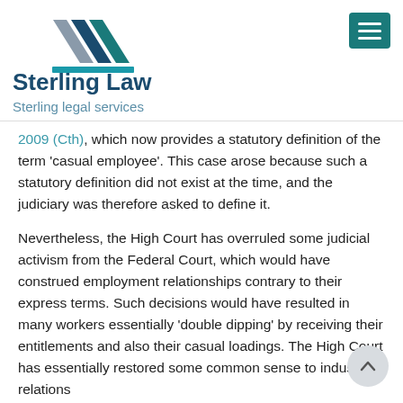[Figure (logo): Sterling Law logo with triangular overlapping arrow shapes in grey and teal, with 'Sterling Law' in dark blue bold and 'Sterling legal services' in teal beneath]
2009 (Cth), which now provides a statutory definition of the term 'casual employee'. This case arose because such a statutory definition did not exist at the time, and the judiciary was therefore asked to define it.
Nevertheless, the High Court has overruled some judicial activism from the Federal Court, which would have construed employment relationships contrary to their express terms. Such decisions would have resulted in many workers essentially 'double dipping' by receiving their entitlements and also their casual loadings. The High Court has essentially restored some common sense to industrial relations...